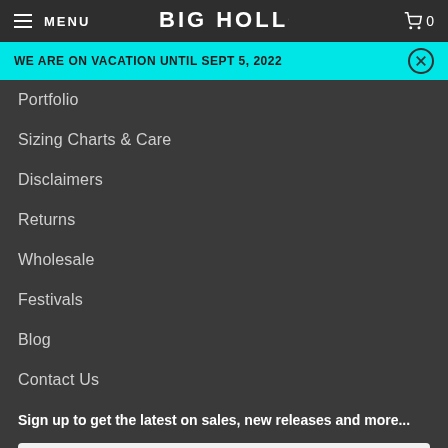MENU | BIG HOLLOW | 0
WE ARE ON VACATION UNTIL SEPT 5, 2022
Portfolio
Sizing Charts & Care
Disclaimers
Returns
Wholesale
Festivals
Blog
Contact Us
Sign up to get the latest on sales, new releases and more...
Email address